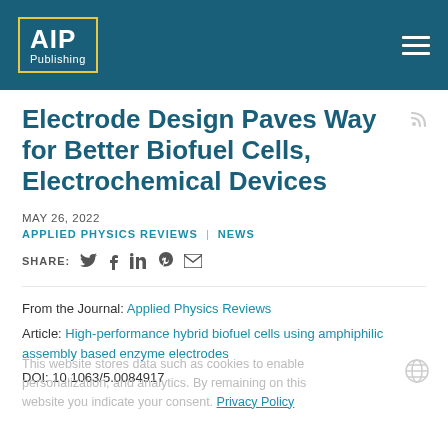AIP Publishing
Electrode Design Paves Way for Better Biofuel Cells, Electrochemical Devices
MAY 26, 2022
APPLIED PHYSICS REVIEWS | NEWS
SHARE:
From the Journal: Applied Physics Reviews
Article: High-performance hybrid biofuel cells using amphiphilic assembly based enzyme electrodes
DOI: 10.1063/5.0084917